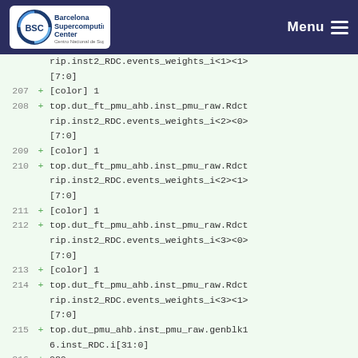Barcelona Supercomputing Center | Menu
rip.inst2_RDC.events_weights_i<1><1>[7:0]
207 + [color] 1
208 + top.dut_ft_pmu_ahb.inst_pmu_raw.Rdctrip.inst2_RDC.events_weights_i<2><0>[7:0]
209 + [color] 1
210 + top.dut_ft_pmu_ahb.inst_pmu_raw.Rdctrip.inst2_RDC.events_weights_i<2><1>[7:0]
211 + [color] 1
212 + top.dut_ft_pmu_ahb.inst_pmu_raw.Rdctrip.inst2_RDC.events_weights_i<3><0>[7:0]
213 + [color] 1
214 + top.dut_ft_pmu_ahb.inst_pmu_raw.Rdctrip.inst2_RDC.events_weights_i<3><1>[7:0]
215 + top.dut_pmu_ahb.inst_pmu_raw.genblk16.inst_RDC.i[31:0]
216 + 020